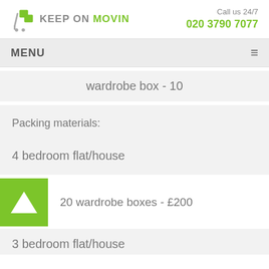[Figure (logo): Keep On Movin logo with cart icon and green text]
Call us 24/7
020 3790 7077
MENU
wardrobe box - 10
Packing materials:
4 bedroom flat/house
20 wardrobe boxes - £200
3 bedroom flat/house